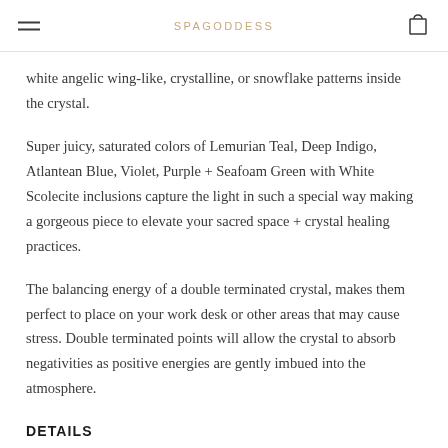SPAGODDESS
white angelic wing-like, crystalline, or snowflake patterns inside the crystal.
Super juicy, saturated colors of Lemurian Teal, Deep Indigo, Atlantean Blue, Violet, Purple + Seafoam Green with White Scolecite inclusions capture the light in such a special way making a gorgeous piece to elevate your sacred space + crystal healing practices.
The balancing energy of a double terminated crystal, makes them perfect to place on your work desk or other areas that may cause stress. Double terminated points will allow the crystal to absorb negativities as positive energies are gently imbued into the atmosphere.
DETAILS
8.4 oz
5.5" long